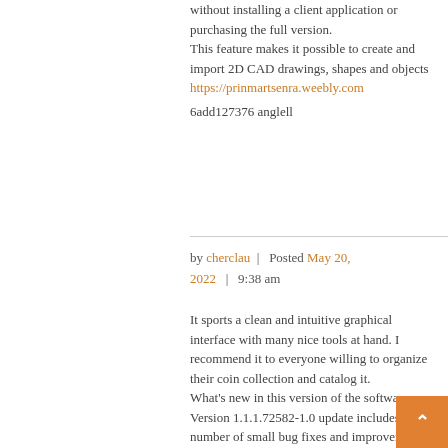without installing a client application or purchasing the full version.
This feature makes it possible to create and import 2D CAD drawings, shapes and objects
https://prinmartsenra.weebly.com
6add127376 anglell
by cherclau | Posted May 20, 2022 | 9:38 am
It sports a clean and intuitive graphical interface with many nice tools at hand. I recommend it to everyone willing to organize their coin collection and catalog it.
What's new in this version of the software
Version 1.1.1.72582-1.0 update includes a number of small bug fixes and improvements.